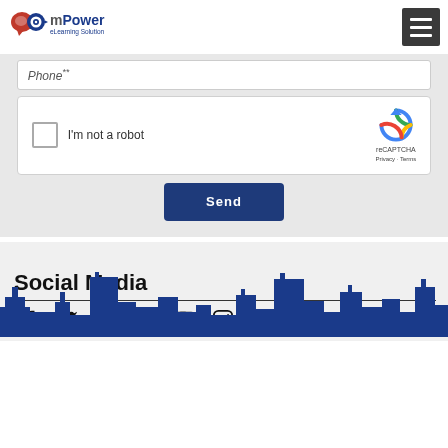[Figure (logo): mPower eLearning Solution logo with speech bubble and target icons]
[Figure (screenshot): Phone form input field with placeholder text 'Phone**']
[Figure (screenshot): reCAPTCHA widget with checkbox 'I'm not a robot']
[Figure (screenshot): Send button in dark navy blue]
Social Media
[Figure (infographic): Social media icons: Facebook, Twitter, Pinterest, LinkedIn, YouTube, Instagram]
[Figure (illustration): City skyline silhouette in dark blue at bottom of page]